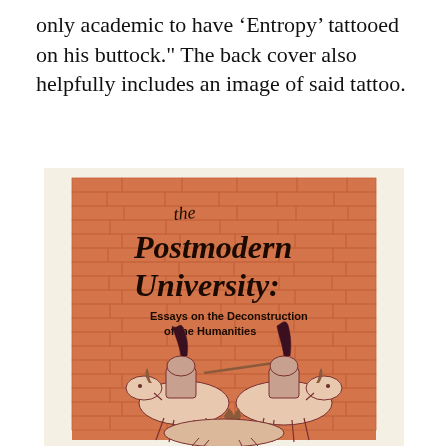only academic to have 'Entropy' tattooed on his buttock." The back cover also helpfully includes an image of said tattoo.
[Figure (illustration): Book cover of 'The Postmodern University: Essays on the Deconstruction of the Humanities'. Orange/terracotta brick wall background with calligraphic script title text. Lower portion shows a line-drawing illustration of armored knights on horseback in jousting/combat scene.]